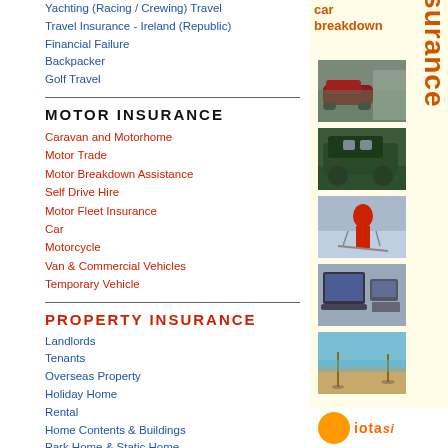Yachting (Racing / Crewing) Travel
Travel Insurance - Ireland (Republic)
Financial Failure
Backpacker
Golf Travel
MOTOR INSURANCE
Caravan and Motorhome
Motor Trade
Motor Breakdown Assistance
Self Drive Hire
Motor Fleet Insurance
Car
Motorcycle
Van & Commercial Vehicles
Temporary Vehicle
PROPERTY INSURANCE
Landlords
Tenants
Overseas Property
Holiday Home
Rental
Home Contents & Buildings
Park Home & Static Home
Holiday Chalet & Log Cabin
Listed Buildings in UK
Landlords Emergency Assistance
Blocks of Flats
[Figure (illustration): Right sidebar with car breakdown and worldwide travel insurance text, photos of car, convertible car with people, skier, laptop/computer, beach scene, and iota logo at bottom]